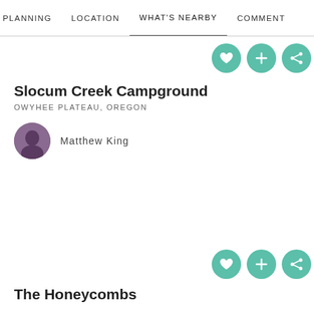PLANNING   LOCATION   WHAT'S NEARBY   COMMENT
Slocum Creek Campground
OWYHEE PLATEAU, OREGON
Matthew King
The Honeycombs